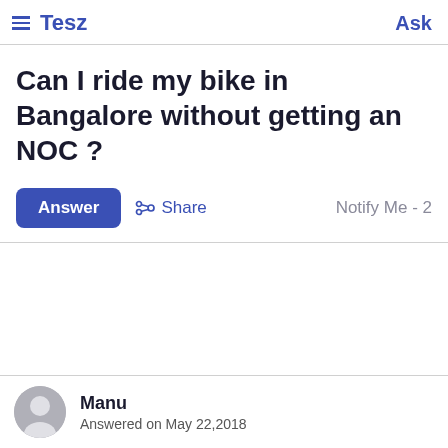Tesz   Ask
Can I ride my bike in Bangalore without getting an NOC ?
Answer   Share   Notify Me - 2
Manu
Answered on May 22,2018